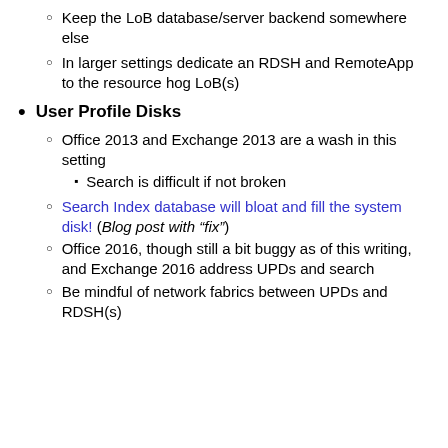Keep the LoB database/server backend somewhere else
In larger settings dedicate an RDSH and RemoteApp to the resource hog LoB(s)
User Profile Disks
Office 2013 and Exchange 2013 are a wash in this setting
Search is difficult if not broken
Search Index database will bloat and fill the system disk! (Blog post with “fix”)
Office 2016, though still a bit buggy as of this writing, and Exchange 2016 address UPDs and search
Be mindful of network fabrics between UPDs and RDSH(s)